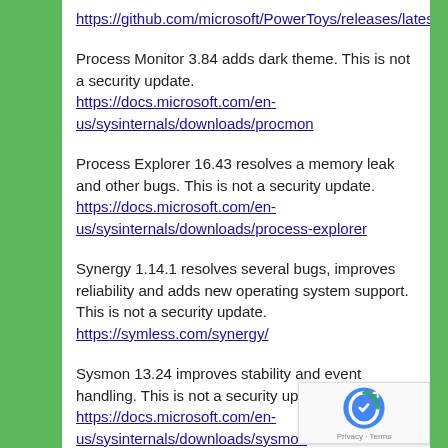https://github.com/microsoft/PowerToys/releases/latest
Process Monitor 3.84 adds dark theme. This is not a security update.
https://docs.microsoft.com/en-us/sysinternals/downloads/procmon
Process Explorer 16.43 resolves a memory leak and other bugs. This is not a security update.
https://docs.microsoft.com/en-us/sysinternals/downloads/process-explorer
Synergy 1.14.1 resolves several bugs, improves reliability and adds new operating system support. This is not a security update.
https://symless.com/synergy/
Sysmon 13.24 improves stability and event handling. This is not a security update.
https://docs.microsoft.com/en-us/sysinternals/downloads/sysmon